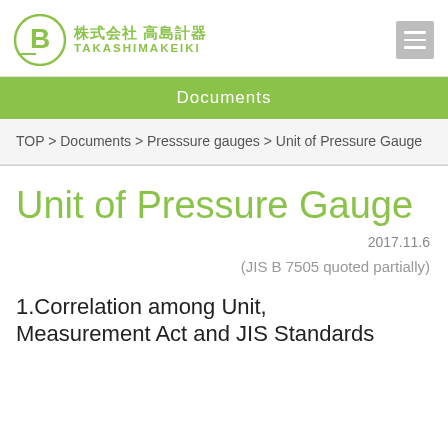株式会社 高島計器 TAKASHIMAKEIKI
Documents
TOP > Documents > Presssure gauges > Unit of Pressure Gauge
Unit of Pressure Gauge
2017.11.6
(JIS B 7505 quoted partially)
1.Correlation among Unit, Measurement Act and JIS Standards